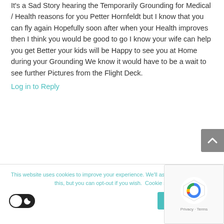It's a Sad Story hearing the Temporarily Grounding for Medical / Health reasons for you Petter Hornfeldt but I know that you can fly again Hopefully soon after when your Health improves then I think you would be good to go I know your wife can help you get Better your kids will be Happy to see you at Home during your Grounding We know it would have to be a wait to see further Pictures from the Flight Deck.
Log in to Reply
This website uses cookies to improve your experience. We'll assume you're ok with this, but you can opt-out if you wish. Cookie se...